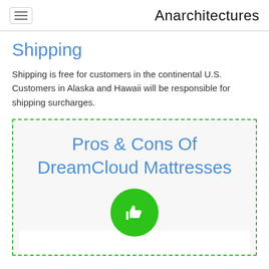Anarchitectures
Shipping
Shipping is free for customers in the continental U.S. Customers in Alaska and Hawaii will be responsible for shipping surcharges.
[Figure (infographic): Dashed green border box containing the heading 'Pros & Cons Of DreamCloud Mattresses' in blue text, a green thumbs-up circle icon, and a white content area below.]